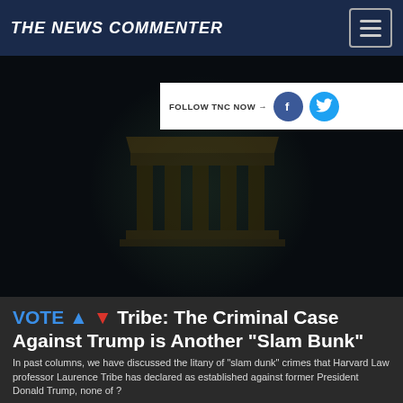THE NEWS COMMENTER
[Figure (screenshot): Dark background with a faded circular logo showing a classical building/courthouse with columns, representing The News Commenter website banner image]
FOLLOW TNC NOW →
VOTE ↑ ↓  Tribe: The Criminal Case Against Trump is Another "Slam Bunk"
In past columns, we have discussed the litany of "slam dunk" crimes that Harvard Law professor Laurence Tribe has declared as established against former President Donald Trump, none of ?
Comment 💬 | Full Story ↗ | Jonathanturley.org on TNC |